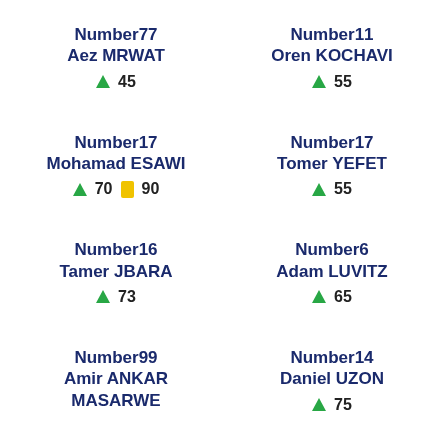Number77
Aez MRWAT
↑ 45
Number11
Oren KOCHAVI
↑ 55
Number17
Mohamad ESAWI
↑ 70  [yellow card] 90
Number17
Tomer YEFET
↑ 55
Number16
Tamer JBARA
↑ 73
Number6
Adam LUVITZ
↑ 65
Number99
Amir ANKAR MASARWE
Number14
Daniel UZON
↑ 75